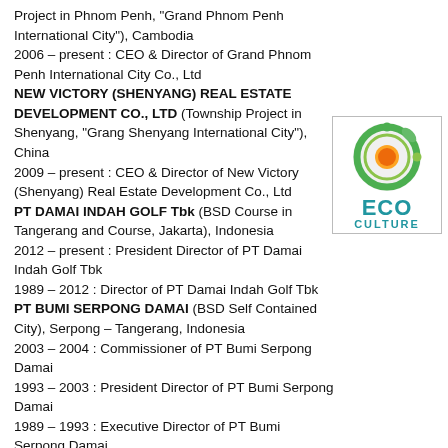Project in Phnom Penh, "Grand Phnom Penh International City"), Cambodia
2006 – present : CEO & Director of Grand Phnom Penh International City Co., Ltd
NEW VICTORY (SHENYANG) REAL ESTATE DEVELOPMENT CO., LTD (Township Project in Shenyang, "Grang Shenyang International City"), China
2009 – present : CEO & Director of New Victory (Shenyang) Real Estate Development Co., Ltd
PT DAMAI INDAH GOLF Tbk (BSD Course in Tangerang and Course, Jakarta), Indonesia
2012 – present : President Director of PT Damai Indah Golf Tbk
1989 – 2012 : Director of PT Damai Indah Golf Tbk
PT BUMI SERPONG DAMAI (BSD Self Contained City), Serpong – Tangerang, Indonesia
2003 – 2004 : Commissioner of PT Bumi Serpong Damai
1993 – 2003 : President Director of PT Bumi Serpong Damai
1989 – 1993 : Executive Director of PT Bumi Serpong Damai
Organizations and Associations
International Urban Development Association (INTA)
2007 – 2013 : President INTA
2002 – 2007 : Vice President
1999 – 2002 : Member of the Governing Board,
Special Regional Commissioners for Australasia Indonesian Real Estate Association (REI)
[Figure (logo): ECO CULTURE logo: circular emblem with green and orange leaf/globe design, text ECO in large bold teal letters, CULTURE in smaller bold teal letters below]